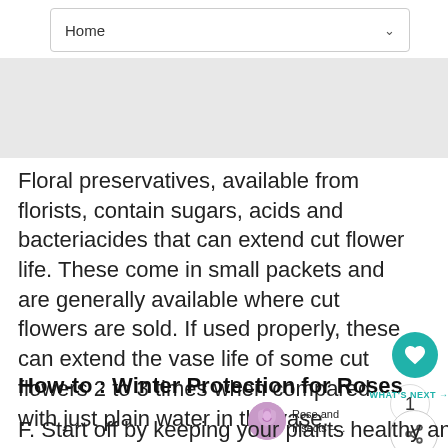Home
Floral preservatives, available from florists, contain sugars, acids and bacteriacides that can extend cut flower life. These come in small packets and are generally available where cut flowers are sold. If used properly, these can extend the vase life of some cut flowers 2 to 3 times when compared with just plain water in the vase.
How-to : Winter Protection for Roses
F. Start off by keeping your plants healthy and